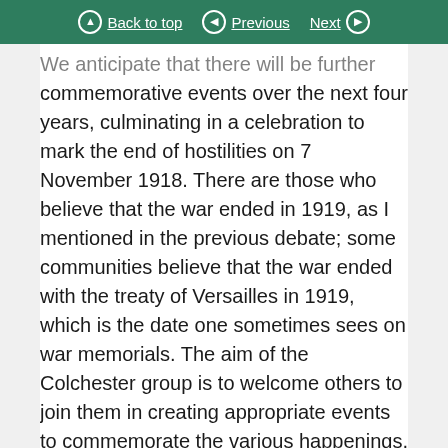Back to top | Previous | Next
We anticipate that there will be further commemorative events over the next four years, culminating in a celebration to mark the end of hostilities on 7 November 1918. There are those who believe that the war ended in 1919, as I mentioned in the previous debate; some communities believe that the war ended with the treaty of Versailles in 1919, which is the date one sometimes sees on war memorials. The aim of the Colchester group is to welcome others to join them in creating appropriate events to commemorate the various happenings, and to link up with others who are planning similar events within the town and the local community. The idea is not to have a formal committee or a big group, but to bring in individuals and groups such as the scouts, the guides or the Royal British Legion to